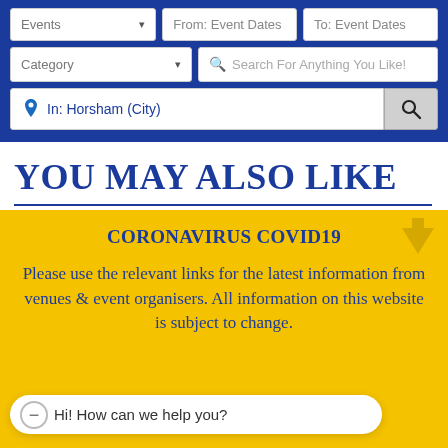[Figure (screenshot): Search panel with blue background containing three rows of search fields: Events/From:Event Dates/To:Event Dates dropdowns, Category dropdown with search box, and location field showing 'In: Horsham (City)' with a search button]
YOU MAY ALSO LIKE
CORONAVIRUS COVID19

Please use the relevant links for the latest information from venues & event organisers. All information on this website is subject to change.
Hi! How can we help you?